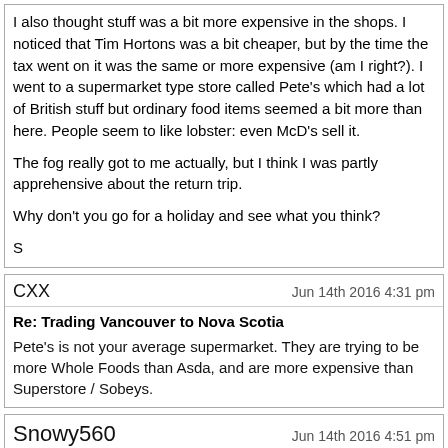I also thought stuff was a bit more expensive in the shops. I noticed that Tim Hortons was a bit cheaper, but by the time the tax went on it was the same or more expensive (am I right?). I went to a supermarket type store called Pete's which had a lot of British stuff but ordinary food items seemed a bit more than here. People seem to like lobster: even McD's sell it.

The fog really got to me actually, but I think I was partly apprehensive about the return trip.

Why don't you go for a holiday and see what you think?

S
CXX
Jun 14th 2016 4:31 pm
Re: Trading Vancouver to Nova Scotia
Pete's is not your average supermarket. They are trying to be more Whole Foods than Asda, and are more expensive than Superstore / Sobeys.
Snowy560
Jun 14th 2016 4:51 pm
Re: Trading Vancouver to Nova Scotia
Yes, I thought this. It was just the store I stumbled upon during my brief